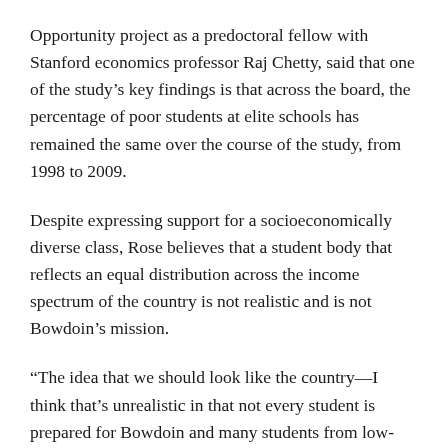Opportunity project as a predoctoral fellow with Stanford economics professor Raj Chetty, said that one of the study's key findings is that across the board, the percentage of poor students at elite schools has remained the same over the course of the study, from 1998 to 2009.
Despite expressing support for a socioeconomically diverse class, Rose believes that a student body that reflects an equal distribution across the income spectrum of the country is not realistic and is not Bowdoin's mission.
“The idea that we should look like the country—I think that’s unrealistic in that not every student is prepared for Bowdoin and many students from low-income backgrounds are engaged in educational experiences in junior high and high and grammar school which leave them ill-prepared. Our job is to find all those great students, if we can, that have the ability to